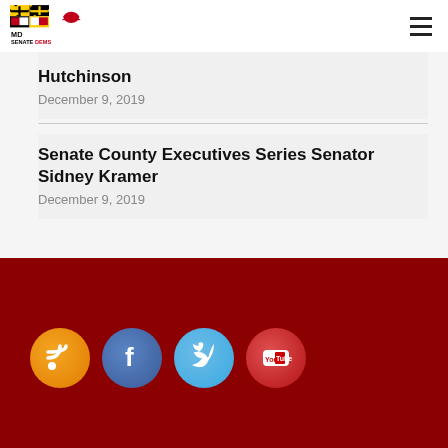[Figure (logo): Maryland Senate Dems logo with Maryland flag icon and crab, text SENATE DEMS]
Hutchinson
December 9, 2019
Senate County Executives Series Senator Sidney Kramer
December 9, 2019
[Figure (infographic): Footer with dark red background and four social media icons: RSS (orange), Facebook (blue), Twitter (light blue), YouTube (red)]